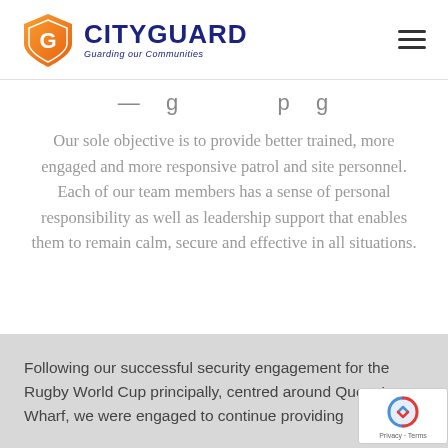CITYGUARD – Guarding our Communities
Our sole objective is to provide better trained, more engaged and more responsive patrol and site personnel. Each of our team members has a sense of personal responsibility as well as leadership support that enables them to remain calm, secure and effective in all situations.
Following our successful security engagement for the Rugby World Cup principally, centred around Queen's Wharf, we were engaged to continue providing